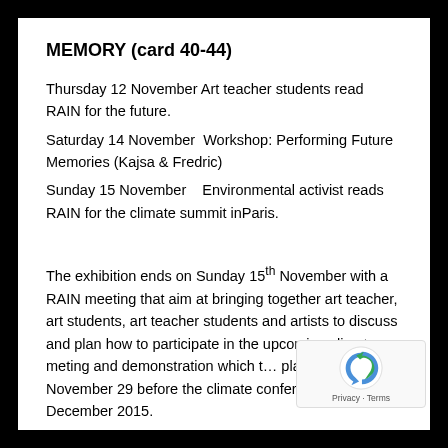MEMORY (card 40-44)
Thursday 12 November Art teacher students read RAIN for the future.
Saturday 14 November  Workshop: Performing Future Memories (Kajsa & Fredric)
Sunday 15 November    Environmental activist reads RAIN for the climate summit inParis.
The exhibition ends on Sunday 15th November with a RAIN meeting that aim at bringing together art teacher, art students, art teacher students and artists to discuss and plan how to participate in the upcoming climate meting and demonstration which takes place on November 29 before the climate conference in Paris, December 2015.